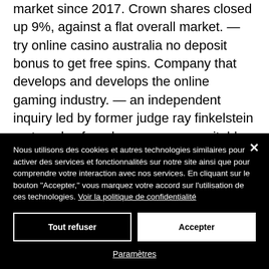market since 2017. Crown shares closed up 9%, against a flat overall market. — try online casino australia no deposit bonus to get free spins. Company that develops and develops the online gaming industry. — an independent inquiry led by former judge ray finkelstein on tuesday found crown was unsuitable to run its melbourne casino [[[[Pick from our huge selection of slot games, with new ones added all the time!
Nous utilisons des cookies et autres technologies similaires pour activer des services et fonctionnalités sur notre site ainsi que pour comprendre votre interaction avec nos services. En cliquant sur le bouton "Accepter," vous marquez votre accord sur l'utilisation de ces technologies. Voir la politique de confidentialité
Tout refuser
Accepter
Paramètres